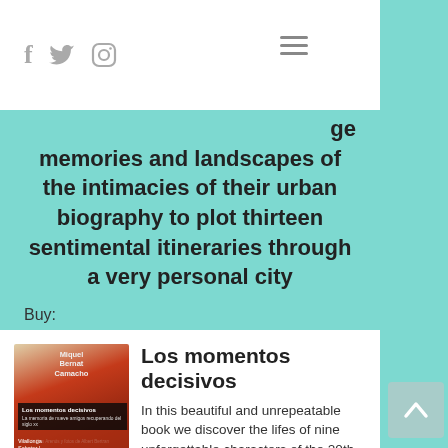f  🐦  ⊙  ≡
ge memories and landscapes of the intimacies of their urban biography to plot thirteen sentimental itineraries through a very personal city
Buy:
SOLD OUT
Los momentos decisivos
In this beautiful and unrepeatable book we discover the lifes of nine unforgettable characters of the 20th